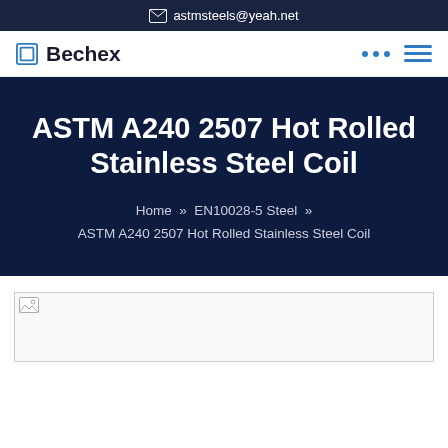astmsteels@yeah.net
Bechex
ASTM A240 2507 Hot Rolled Stainless Steel Coil
Home » EN10028-5 Steel » ASTM A240 2507 Hot Rolled Stainless Steel Coil
[Figure (photo): Product image placeholder for ASTM A240 2507 Hot Rolled Stainless Steel Coil]